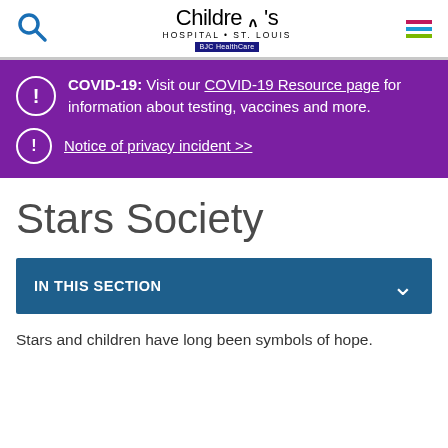Children's Hospital St. Louis — BJC HealthCare
COVID-19: Visit our COVID-19 Resource page for information about testing, vaccines and more.
Notice of privacy incident >>
Stars Society
IN THIS SECTION
Stars and children have long been symbols of hope.